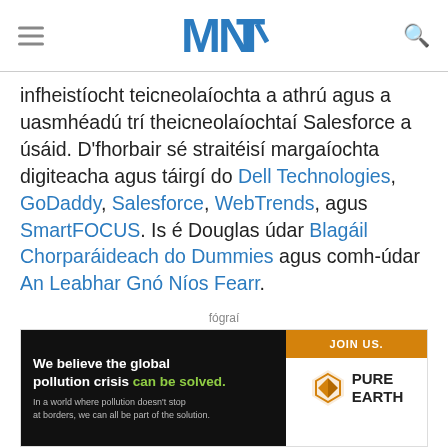MNT (logo)
infheistíocht teicneolaíochta a athrú agus a uasmhéadú trí theicneolaíochtaí Salesforce a úsáid. D'fhorbair sé straitéisí margaíochta digiteacha agus táirgí do Dell Technologies, GoDaddy, Salesforce, WebTrends, agus SmartFOCUS. Is é Douglas údar Blagáil Chorparáideach do Dummies agus comh-údar An Leabhar Gnó Níos Fearr.
fógraí
[Figure (advertisement): Pure Earth ad: 'We believe the global pollution crisis can be solved.' with JOIN US button]
[Figure (advertisement): Direct Relief orange banner: 'Help send medical aid to Ukraine >>']